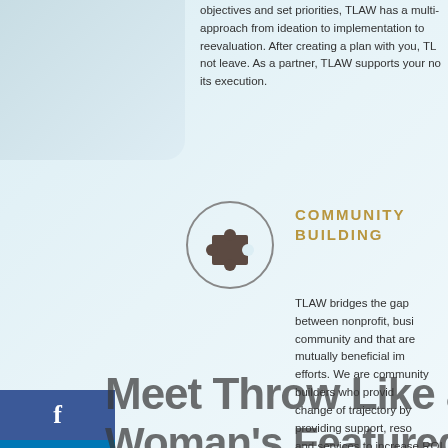[Figure (photo): Top-left light blue/teal decorative background area with partial circular logo visible at top center]
objectives and set priorities, TLAW has a multi- approach from ideation to implementation to reevaluation. After creating a plan with you, TL not leave. As a partner, TLAW supports your no its execution.
[Figure (illustration): Puzzle piece icon inside a circle, dark brown/grey colors on light background]
COMMUNITY BUILDING
TLAW bridges the gap between nonprofit, busi community and that are mutually beneficial im efforts. We are community builders who provid change of trajectory by providing support, reso and services to increase ROI and reach to dem that a company is a good corporate citizen pro cause marketing, event management and socia responsibility services.
[Figure (infographic): Social media sidebar icons: Facebook (blue), LinkedIn (blue), Instagram (gradient), Email (grey)]
Meet Throw Like a Woman's Featured Partners